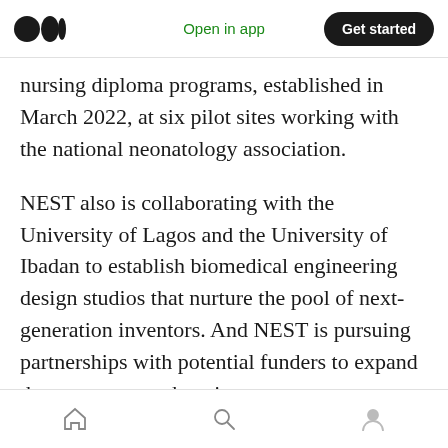Open in app | Get started
nursing diploma programs, established in March 2022, at six pilot sites working with the national neonatology association.
NEST also is collaborating with the University of Lagos and the University of Ibadan to establish biomedical engineering design studios that nurture the pool of next-generation inventors. And NEST is pursuing partnerships with potential funders to expand the program to other sites.
The long-term goal, Richards-Kortum said, is
Home | Search | Profile